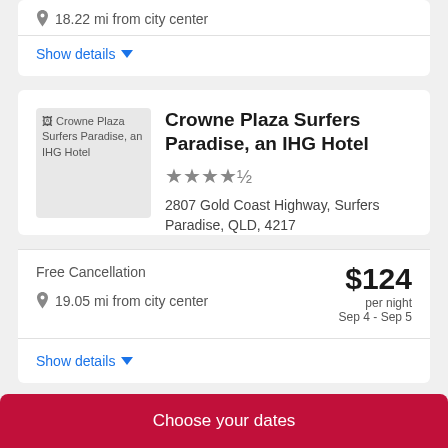18.22 mi from city center
Show details
Crowne Plaza Surfers Paradise, an IHG Hotel
[Figure (photo): Hotel thumbnail image for Crowne Plaza Surfers Paradise, an IHG Hotel]
2807 Gold Coast Highway, Surfers Paradise, QLD, 4217
Free Cancellation
19.05 mi from city center
$124 per night Sep 4 - Sep 5
Show details
Choose your dates